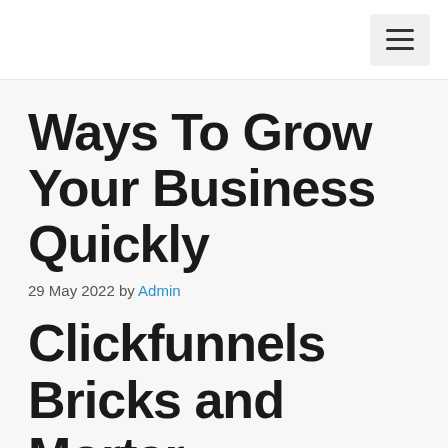☰
Ways To Grow Your Business Quickly
29 May 2022 by Admin
Clickfunnels Bricks and Mortar